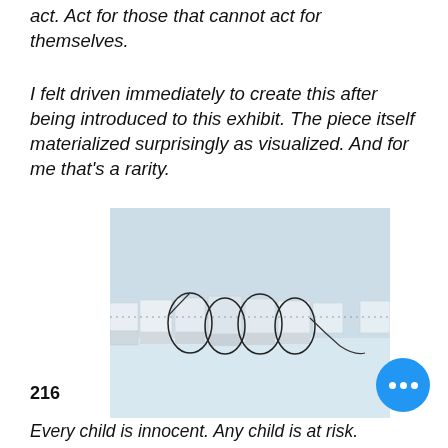act. Act for those that cannot act for themselves.
I felt driven immediately to create this after being introduced to this exhibit. The piece itself materialized surprisingly as visualized. And for me that's a rarity.
[Figure (photo): A horizontal sculptural artwork mounted on a white wall, featuring white/pale blocks or segments connected with looping black wire/cord elements.]
216
Every child is innocent. Any child is at risk.